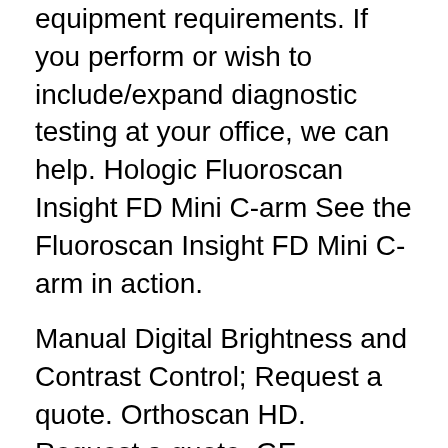equipment requirements. If you perform or wish to include/expand diagnostic testing at your office, we can help. Hologic Fluoroscan Insight FD Mini C-arm See the Fluoroscan Insight FD Mini C-arm in action.
Manual Digital Brightness and Contrast Control; Request a quote. Orthoscan HD. Request a quote. GE Senographe 2000D. The OrthoScan mini c-arm design allows for an orbital Manual Noise Suppression 3 Modes Laser Alignment Yes Multifunction Wireless Foot Switch Yes Documentation. Orthoscan Mini C-arm . Orthoscan Mini C-arm Mdi. $42,350.00. Mini Orthoscan FD Pulse. The First and Only Mini C-Arm